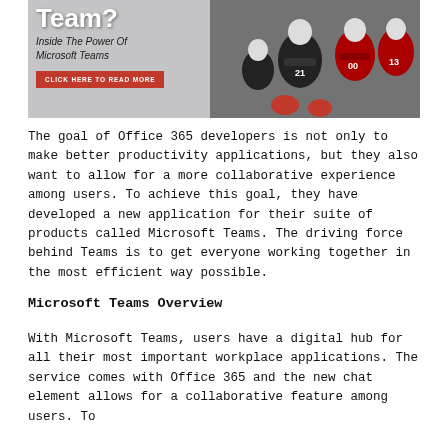[Figure (photo): Banner image with text 'Team? Inside The Power Of Microsoft Teams' with a red 'CLICK HERE TO READ MORE' button on the left, and football players in red and black uniforms on the right against a gray background.]
The goal of Office 365 developers is not only to make better productivity applications, but they also want to allow for a more collaborative experience among users. To achieve this goal, they have developed a new application for their suite of products called Microsoft Teams. The driving force behind Teams is to get everyone working together in the most efficient way possible.
Microsoft Teams Overview
With Microsoft Teams, users have a digital hub for all their most important workplace applications. The service comes with Office 365 and the new chat element allows for a collaborative feature among users. Teams